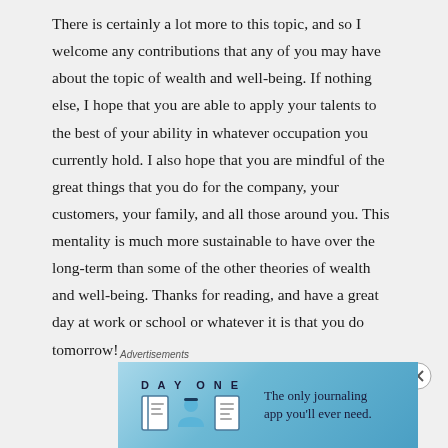There is certainly a lot more to this topic, and so I welcome any contributions that any of you may have about the topic of wealth and well-being. If nothing else, I hope that you are able to apply your talents to the best of your ability in whatever occupation you currently hold. I also hope that you are mindful of the great things that you do for the company, your customers, your family, and all those around you. This mentality is much more sustainable to have over the long-term than some of the other theories of wealth and well-being. Thanks for reading, and have a great day at work or school or whatever it is that you do tomorrow!
Advertisements
[Figure (illustration): Day One journaling app advertisement banner with light blue background, showing the Day One logo, three app icons (notebook, person, document), and the text 'The only journaling app you'll ever need.']